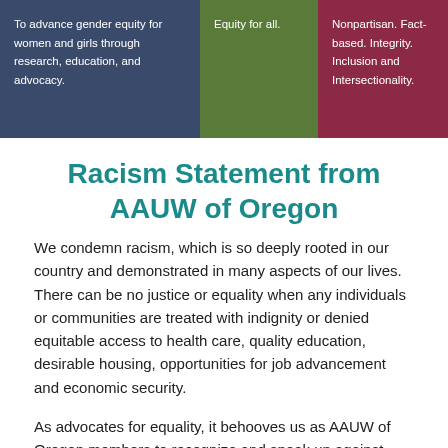To advance gender equity for women and girls through research, education, and advocacy.
Equity for all.
Nonpartisan. Fact-based. Integrity. Inclusion and Intersectionality.
Racism Statement from AAUW of Oregon
We condemn racism, which is so deeply rooted in our country and demonstrated in many aspects of our lives. There can be no justice or equality when any individuals or communities are treated with indignity or denied equitable access to health care, quality education, desirable housing, opportunities for job advancement and economic security.
As advocates for equality, it behooves us as AAUW of Oregon members to recognize and speak up against racism.